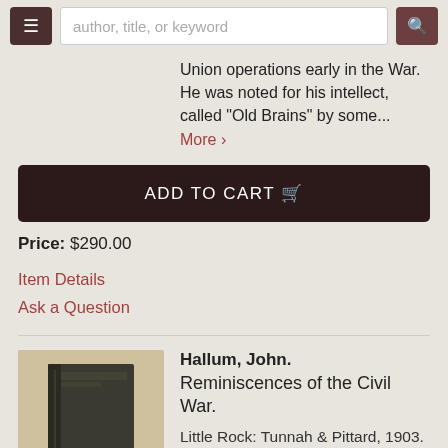author, title, or keyword
Union operations early in the War. He was noted for his intellect, called "Old Brains" by some... More ›
ADD TO CART
Price: $290.00
Item Details
Ask a Question
Hallum, John. Reminiscences of the Civil War.
Little Rock: Tunnah & Pittard, 1903. First. HB. A scarce reminiscence by an